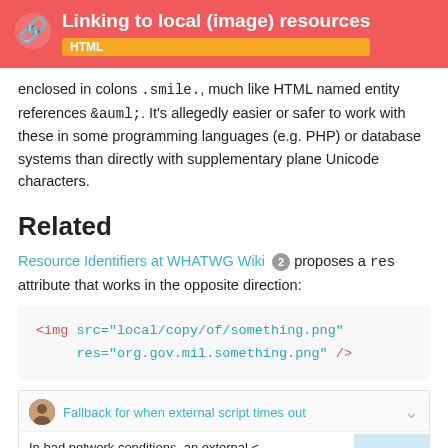Linking to local (image) resources — HTML
enclosed in colons .smile., much like HTML named entity references &auml;. It's allegedly easier or safer to work with these in some programming languages (e.g. PHP) or database systems than directly with supplementary plane Unicode characters.
Related
Resource Identifiers at WHATWG Wiki 2 proposes a res attribute that works in the opposite direction:
<img src="local/copy/of/something.png"
     res="org.gov.mil.something.png" />
Fallback for when external script times out
In bad news network conditions, an external < very long time to load (or not load at all)